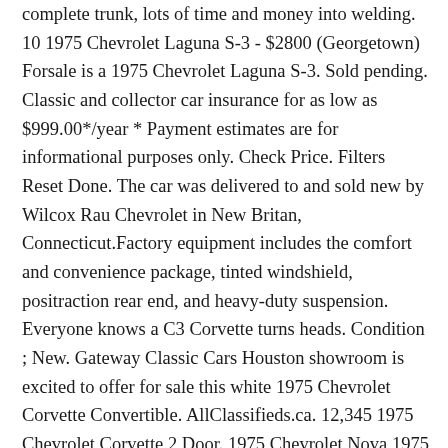complete trunk, lots of time and money into welding. 10 1975 Chevrolet Laguna S-3 - $2800 (Georgetown) Forsale is a 1975 Chevrolet Laguna S-3. Sold pending. Classic and collector car insurance for as low as $999.00*/year * Payment estimates are for informational purposes only. Check Price. Filters Reset Done. The car was delivered to and sold new by Wilcox Rau Chevrolet in New Britan, Connecticut.Factory equipment includes the comfort and convenience package, tinted windshield, positraction rear end, and heavy-duty suspension. Everyone knows a C3 Corvette turns heads. Condition ; New. Gateway Classic Cars Houston showroom is excited to offer for sale this white 1975 Chevrolet Corvette Convertible. AllClassifieds.ca. 12,345 1975 Chevrolet Corvette 2 Door. 1975 Chevrolet Nova 1975 Chevrolet Nova. Everyone knows a C3 Corvette turns heads.... More. 53. 1975 Chevrolet Chevelle Laguna S-3 This 75 Laguna (1 of 7788 produced that year) is a mostly original fully optioned car in excellent driving condition. Sort. C $27,147.20 +C $0.00 shipping. Click for more